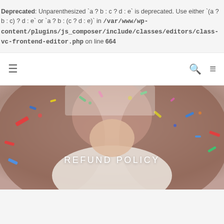Deprecated: Unparenthesized `a ? b : c ? d : e` is deprecated. Use either `(a ? b : c) ? d : e` or `a ? b : (c ? d : e)` in /var/www/wp-content/plugins/js_composer/include/classes/editors/class-vc-frontend-editor.php on line 664
[Figure (screenshot): Navigation bar with hamburger menu icon on the left and search and hamburger icons on the right]
[Figure (photo): Hero image of a woman with long hair blowing colorful confetti, with 'REFUND POLICY' text overlay in white letters]
REFUND POLICY